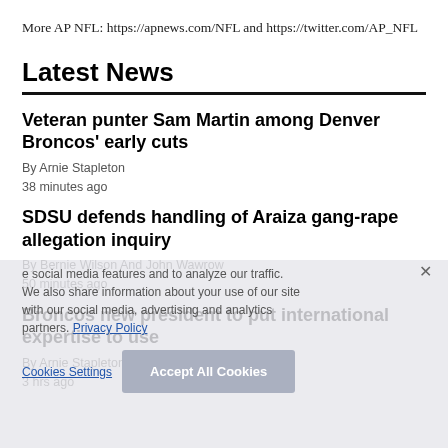More AP NFL: https://apnews.com/NFL and https://twitter.com/AP_NFL
Latest News
Veteran punter Sam Martin among Denver Broncos' early cuts
By Arnie Stapleton
38 minutes ago
SDSU defends handling of Araiza gang-rape allegation inquiry
By Bernie Wilson And John Wawrow
50 minutes ago
Broncos new president to put international expertise to use
By Arnie Stapleton
3 hrs ago